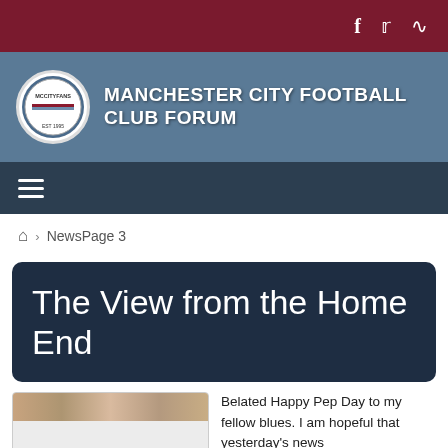Social icons: facebook, twitter, rss
MANCHESTER CITY FOOTBALL CLUB FORUM
Navigation menu (hamburger)
Home > NewsPage 3
The View from the Home End
[Figure (photo): Blurred/pixelated image, appears to be a person or scene, partially visible]
Belated Happy Pep Day to my fellow blues. I am hopeful that yesterday's news